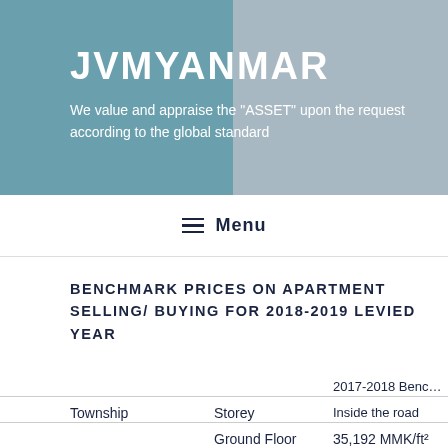JVMYANMAR
We value and appraise the "ASSET" upon the request according to the global standard
≡ Menu
BENCHMARK PRICES ON APARTMENT SELLING/ BUYING FOR 2018-2019 LEVIED YEAR
| Township | Storey | 2017-2018 Benchmark - Inside the road |
| --- | --- | --- |
|  | Ground Floor | 35,192 MMK/ft² |